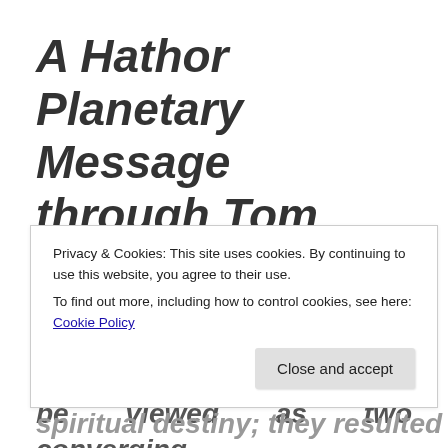A Hathor Planetary Message through Tom Kenyon
“From our perspective the ascension process can be viewed as two converging energetic streams
Privacy & Cookies: This site uses cookies. By continuing to use this website, you agree to their use.
To find out more, including how to control cookies, see here: Cookie Policy
Close and accept
spiritual destiny; they resulted from RAISE the